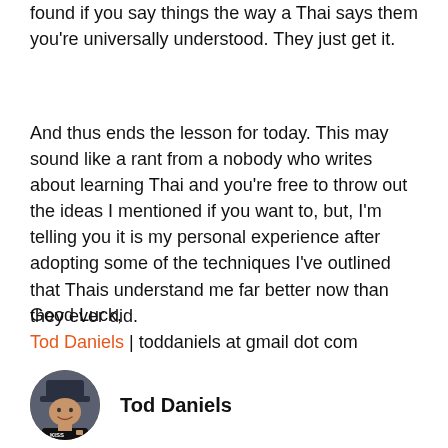found if you say things the way a Thai says them you're universally understood. They just get it.
And thus ends the lesson for today. This may sound like a rant from a nobody who writes about learning Thai and you're free to throw out the ideas I mentioned if you want to, but, I'm telling you it is my personal experience after adopting some of the techniques I've outlined that Thais understand me far better now than they ever did.
Good Luck,
Tod Daniels | toddaniels at gmail dot com
Tod Daniels